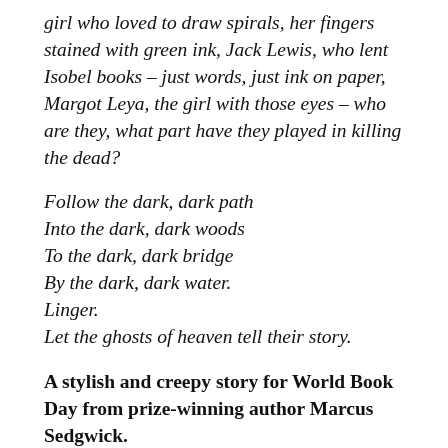girl who loved to draw spirals, her fingers stained with green ink, Jack Lewis, who lent Isobel books – just words, just ink on paper, Margot Leya, the girl with those eyes – who are they, what part have they played in killing the dead?
Follow the dark, dark path
Into the dark, dark woods
To the dark, dark bridge
By the dark, dark water.
Linger.
Let the ghosts of heaven tell their story.
A stylish and creepy story for World Book Day from prize-winning author Marcus Sedgwick.